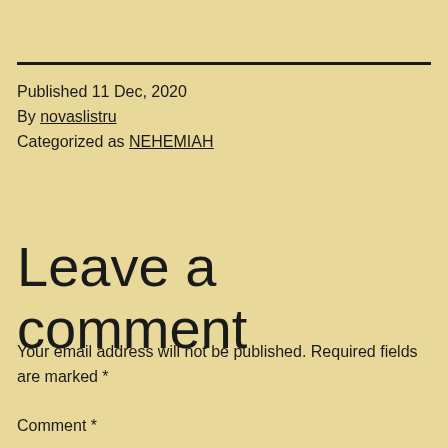Published 11 Dec, 2020
By novaslistru
Categorized as NEHEMIAH
Leave a comment
Your email address will not be published. Required fields are marked *
Comment *